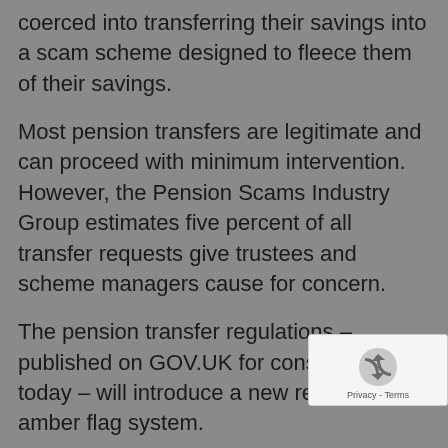coerced into transferring their savings into a scam scheme designed to fleece them of their savings.
Most pension transfers are legitimate and can proceed with minimum intervention. However, the Pension Scams Industry Group estimates five percent of all transfer requests give trustees and scheme managers cause for concern.
The pension transfer regulations – published on GOV.UK for consultation today – will introduce a new red and amber flag system.
The “red flags” and “amber flags” are triggered when one, or a combination, of a specific set of circumstances are present and indicate fraudulent activity.
A red flag will give the trustee the power to bl the transfer, while an amber flag allows them to